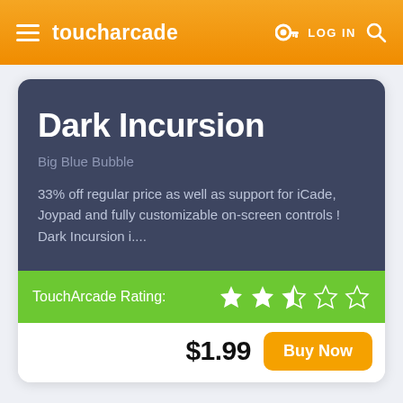toucharcade   LOG IN
Dark Incursion
Big Blue Bubble
33% off regular price as well as support for iCade, Joypad and fully customizable on-screen controls ! Dark Incursion i....
TouchArcade Rating:
$1.99
Buy Now